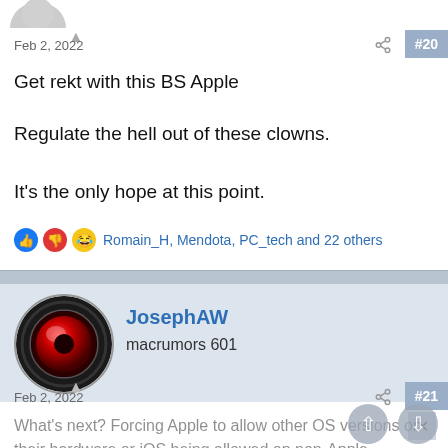[Figure (photo): Partial avatar image at top of page]
Feb 2, 2022
#20
Get rekt with this BS Apple
Regulate the hell out of these clowns.
It's the only hope at this point.
Romain_H, Mendota, PC_tech and 22 others
[Figure (photo): Avatar for JosephAW - HAL 9000 style red eye on black circular background]
JosephAW
macrumors 601
Feb 2, 2022
#21
What's next? Forcing Apple to allow other OS versions on their hardware or iOS being allowed on non-Apple devices?